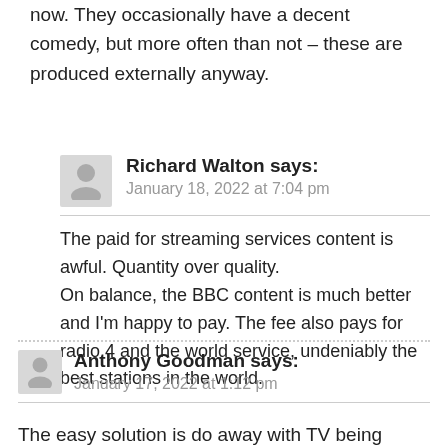now. They occasionally have a decent comedy, but more often than not – these are produced externally anyway.
Richard Walton says:
January 18, 2022 at 7:04 pm
The paid for streaming services content is awful. Quantity over quality.
On balance, the BBC content is much better and I'm happy to pay. The fee also pays for radio 4 and the world service, undeniably the best stations in the world.
Anthony Goodman says:
January 17, 2022 at 1:12 pm
The easy solution is do away with TV being